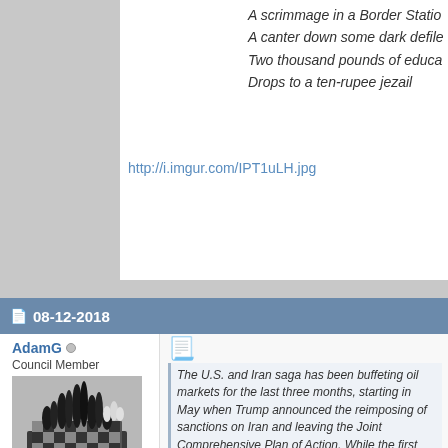A scrimmage in a Border Station
A canter down some dark defile
Two thousand pounds of educa
Drops to a ten-rupee jezail
http://i.imgur.com/IPT1uLH.jpg
08-12-2018
AdamG
Council Member
[Figure (photo): Black and white photo of a 3D chess board sculpture with chess pieces arranged dramatically]
Join Date: Dec 2005
Location: Hiding from the Dreaded Burrito Gang
Posts: 3,096
The U.S. and Iran saga has been buffeting oil markets for the last three months, starting in May when Trump announced the reimposing of sanctions on Iran and leaving the Joint Comprehensive Plan of Action. While the first round of sanctions goes into effect, the relationship between Iran and the U.S. has been increasingly strained. The second round of sanctions, which is going to target the oil sector, will have a much greater impact than the current round. According to some experts, these sanctions could take anywhere from 500,000 barrels out of the market...recent worries about spare capacity and tension in the Arabian Pe...by this and KSA)...